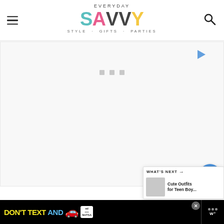[Figure (logo): Everyday Savvy website logo with hamburger menu icon on left and search icon on right. Logo reads EVERYDAY SAVVY in multicolor letters, tagline: STYLE · GIFTS · PARTIES]
[Figure (other): Ad placeholder area with light gray background, a play button icon in the upper right, and three gray loading squares in the center]
[Figure (other): Social share sidebar with blue heart/save button, pink count box showing 113, and white share button with arrows]
[Figure (other): What's Next panel showing: WHAT'S NEXT → Cute Outfits for Teen Boy... with thumbnail image]
[Figure (other): Bottom banner advertisement: DON'T TEXT AND (car emoji) with NHTSA ad badge, close X button, and right logo with dots and W° text]